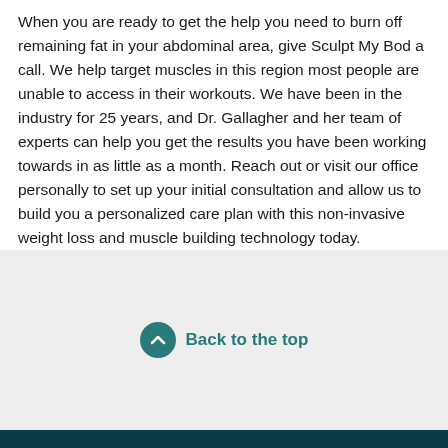When you are ready to get the help you need to burn off remaining fat in your abdominal area, give Sculpt My Bod a call. We help target muscles in this region most people are unable to access in their workouts. We have been in the industry for 25 years, and Dr. Gallagher and her team of experts can help you get the results you have been working towards in as little as a month. Reach out or visit our office personally to set up your initial consultation and allow us to build you a personalized care plan with this non-invasive weight loss and muscle building technology today.
Back to the top